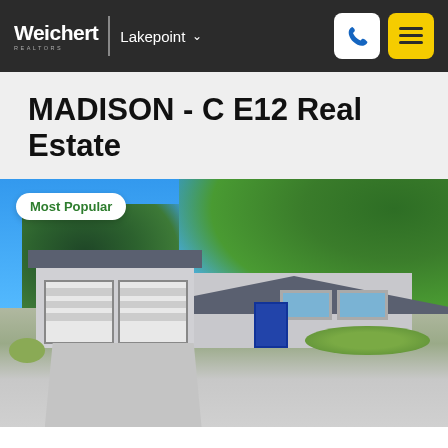Weichert | Lakepoint
MADISON - C E12 Real Estate
[Figure (photo): Exterior photo of a single-story ranch-style home with a two-car garage, blue sky, and surrounding trees. A 'Most Popular' badge is overlaid in the top-left corner.]